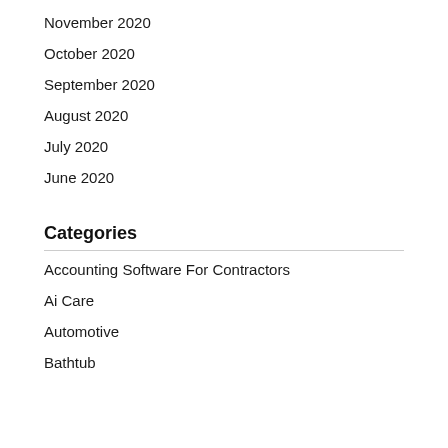November 2020
October 2020
September 2020
August 2020
July 2020
June 2020
Categories
Accounting Software For Contractors
Ai Care
Automotive
Bathtub